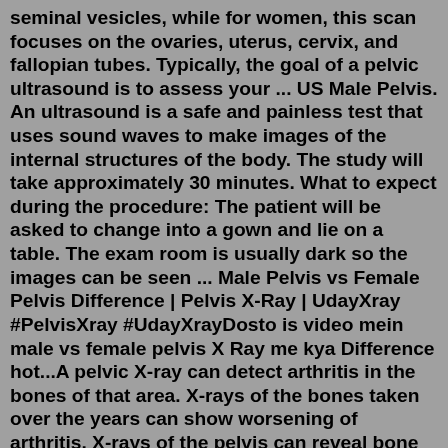seminal vesicles, while for women, this scan focuses on the ovaries, uterus, cervix, and fallopian tubes. Typically, the goal of a pelvic ultrasound is to assess your ... US Male Pelvis. An ultrasound is a safe and painless test that uses sound waves to make images of the internal structures of the body. The study will take approximately 30 minutes. What to expect during the procedure: The patient will be asked to change into a gown and lie on a table. The exam room is usually dark so the images can be seen ... Male Pelvis vs Female Pelvis Difference | Pelvis X-Ray | UdayXray #PelvisXray #UdayXrayDosto is video mein male vs female pelvis X Ray me kya Difference hot...A pelvic X-ray can detect arthritis in the bones of that area. X-rays of the bones taken over the years can show worsening of arthritis. X-rays of the pelvis can reveal bone tumors and diagnose bone cancer. Fractured bones, joint location, and infections of the hip or pelvis can also be diagnosed with an X-ray. An x-ray of pelvis demonstrated a 9 cm long metallic object in the patient on the corresponding line... All